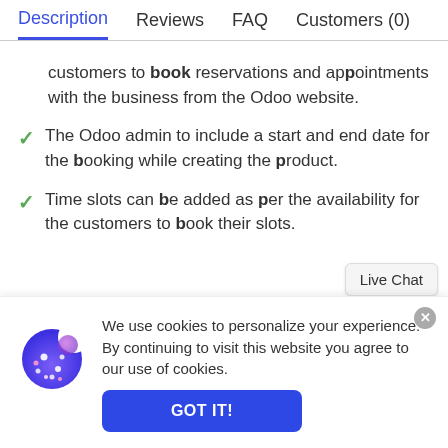Description | Reviews | FAQ | Customers (0)
customers to book reservations and appointments with the business from the Odoo website.
The Odoo admin to include a start and end date for the booking while creating the product.
Time slots can be added as per the availability for the customers to book their slots.
[Figure (screenshot): Cookie consent banner with cookie illustration, privacy notice text, and GOT IT! button]